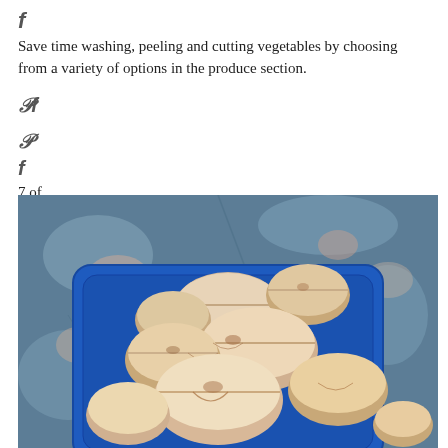f
Save time washing, peeling and cutting vegetables by choosing from a variety of options in the produce section.
Pf
P
f
7 of
[Figure (photo): Overhead view of sliced mushrooms in a blue plastic container tray, placed on a distressed blue painted surface.]